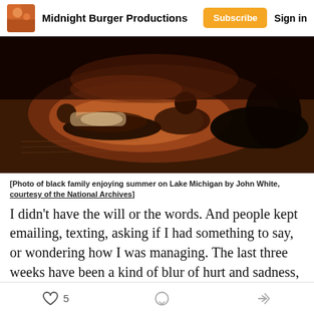Midnight Burger Productions | Subscribe | Sign in
[Figure (photo): Photo of a black family enjoying summer on Lake Michigan, warm amber/orange tones, people lying on a blanket outdoors at night or dusk]
[Photo of black family enjoying summer on Lake Michigan by John White, courtesy of the National Archives]
I didn't have the will or the words. And people kept emailing, texting, asking if I had something to say, or wondering how I was managing. The last three weeks have been a kind of blur of hurt and sadness, occasionally interrupted by rage or spontaneous crying.
5 likes | comment | share